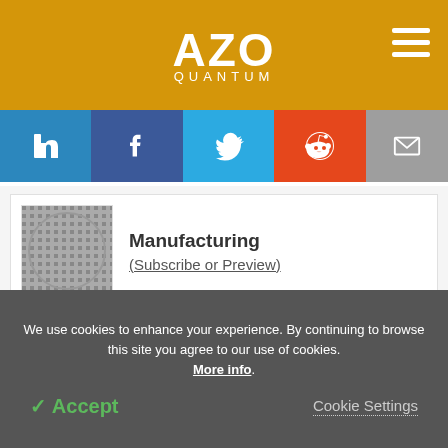AZO QUANTUM
[Figure (infographic): Social sharing bar with LinkedIn, Facebook, Twitter, Reddit, and Email buttons]
Manufacturing (Subscribe or Preview)
Spectroscopy (Subscribe or Preview)
We use cookies to enhance your experience. By continuing to browse this site you agree to our use of cookies. More info. Accept | Cookie Settings